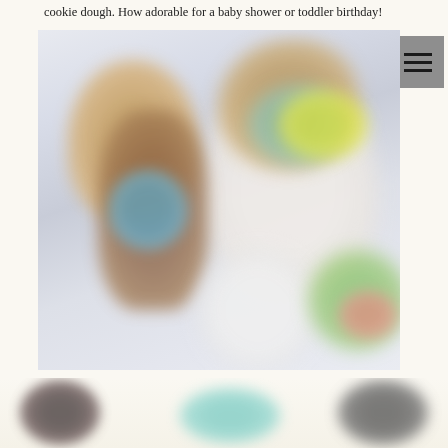cookie dough. How adorable for a baby shower or toddler birthday!
[Figure (photo): Blurred close-up photo of decorated cupcakes or cookies with colorful frosting including white, teal/blue, yellow, and green colors, on a light background.]
[Figure (photo): Partially visible blurred photo at bottom of page showing dark round objects and teal/green colored item on a light background.]